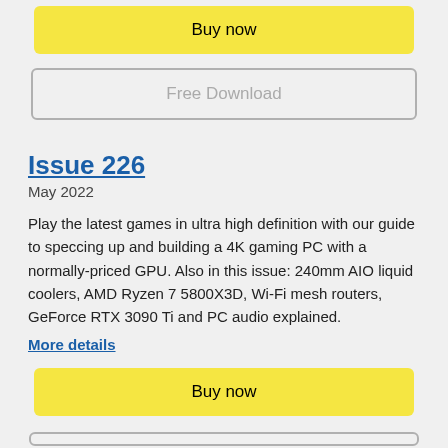Buy now
Free Download
Issue 226
May 2022
Play the latest games in ultra high definition with our guide to speccing up and building a 4K gaming PC with a normally-priced GPU. Also in this issue: 240mm AIO liquid coolers, AMD Ryzen 7 5800X3D, Wi-Fi mesh routers, GeForce RTX 3090 Ti and PC audio explained.
More details
Buy now